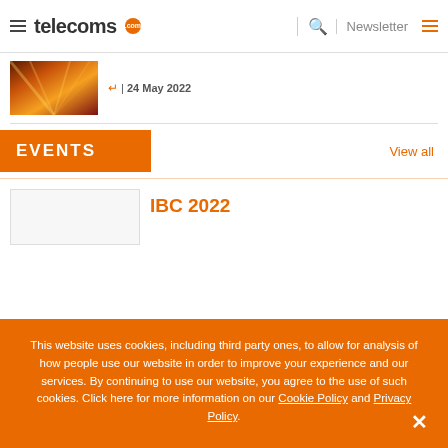telecoms.com | Newsletter
24 May 2022
[Figure (photo): Abstract light streaks photo used as article thumbnail]
EVENTS
View all
IBC 2022
This website uses cookies, including third party ones, to allow for analysis of how people use our website in order to improve your experience and our services. By continuing to use our website, you agree to the use of such cookies. Click here for more information on our Cookie Policy and Privacy Policy.